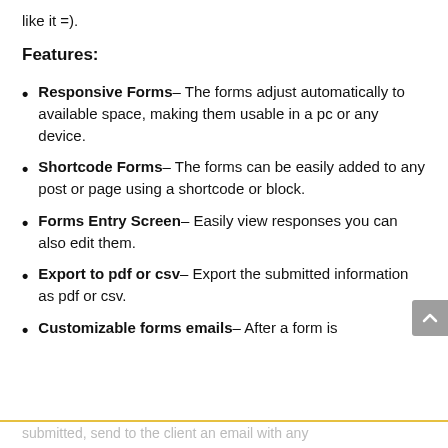like it =).
Features:
Responsive Forms– The forms adjust automatically to available space, making them usable in a pc or any device.
Shortcode Forms– The forms can be easily added to any post or page using a shortcode or block.
Forms Entry Screen– Easily view responses you can also edit them.
Export to pdf or csv– Export the submitted information as pdf or csv.
Customizable forms emails– After a form is submitted, send to the client an email with any